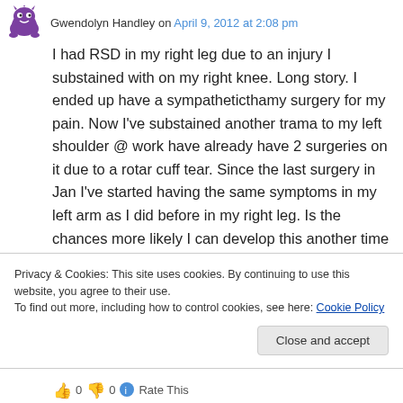Gwendolyn Handley on April 9, 2012 at 2:08 pm
I had RSD in my right leg due to an injury I substained with on my right knee. Long story. I ended up have a sympatheticthamy surgery for my pain. Now I've substained another trama to my left shoulder @ work have already have 2 surgeries on it due to a rotar cuff tear. Since the last surgery in Jan I've started having the same symptoms in my left arm as I did before in my right leg. Is the chances more likely I can develop this another time greater? This is
Privacy & Cookies: This site uses cookies. By continuing to use this website, you agree to their use.
To find out more, including how to control cookies, see here: Cookie Policy
Close and accept
0  0  Rate This